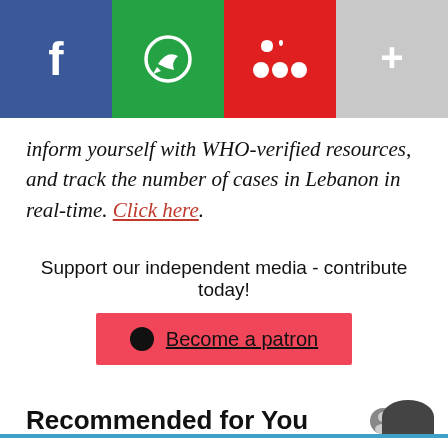[Figure (other): Social share bar with four buttons: Facebook (blue), WhatsApp (green), MySpace/share (red), and more (gray), each with an icon]
inform yourself with WHO-verified resources, and track the number of cases in Lebanon in real-time. Click here.
Support our independent media - contribute today!
[Figure (other): Patreon button with logo dot and text 'Become a patron' on red background]
Recommended for You
[Figure (other): Pagination dots: one large dark dot and one small gray dot]
[Figure (other): Partial avatar circle at bottom right, dark background]